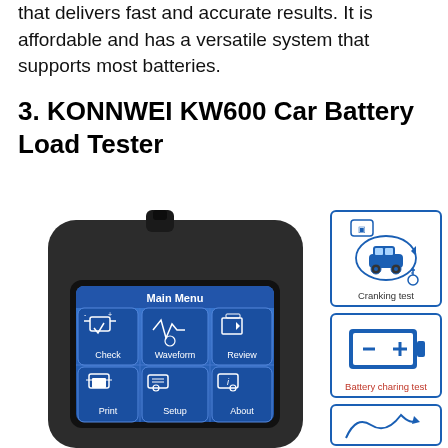that delivers fast and accurate results. It is affordable and has a versatile system that supports most batteries.
3. KONNWEI KW600 Car Battery Load Tester
[Figure (photo): KONNWEI KW600 Car Battery Load Tester device showing main menu screen with options: Check, Waveform, Review, Print, Setup, About. Side icons show Cranking test, Battery charging test, and partial third icon.]
Cranking test
Battery charing test